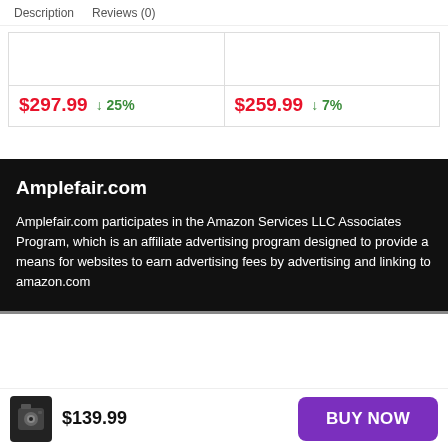Description   Reviews (0)
| Price | Discount | Price | Discount |
| --- | --- | --- | --- |
| $297.99 | ↓25% | $259.99 | ↓7% |
Amplefair.com
Amplefair.com participates in the Amazon Services LLC Associates Program, which is an affiliate advertising program designed to provide a means for websites to earn advertising fees by advertising and linking to amazon.com
$139.99
BUY NOW